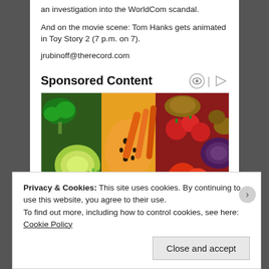an investigation into the WorldCom scandal.

And on the movie scene: Tom Hanks gets animated in Toy Story 2 (7 p.m. on 7).
jrubinoff@therecord.com
Sponsored Content
[Figure (photo): Colorful assortment of fresh fruits and vegetables arranged in a rainbow pattern]
Privacy & Cookies: This site uses cookies. By continuing to use this website, you agree to their use.
To find out more, including how to control cookies, see here: Cookie Policy
Close and accept